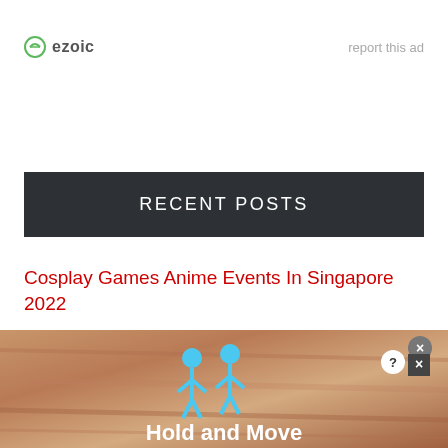[Figure (logo): Ezoic logo with circular icon and 'ezoic' text]
report this ad
RECENT POSTS
Cosplay Games Anime Events In Singapore 2022
Creality Ender-3 3D Printer Parts List & Sizes
3 Types Of Computer Hard Disks (With
[Figure (screenshot): Ad banner showing animated figures with text 'Hold and Move' on a wooden background with close buttons]